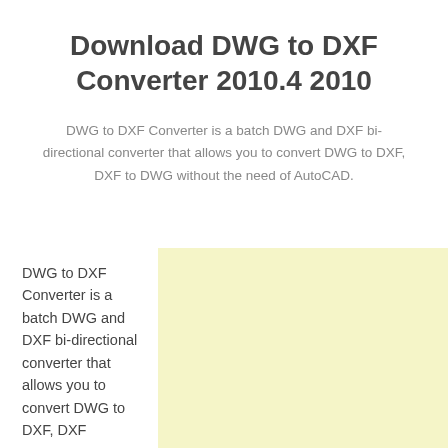Download DWG to DXF Converter 2010.4 2010
DWG to DXF Converter is a batch DWG and DXF bi-directional converter that allows you to convert DWG to DXF, DXF to DWG without the need of AutoCAD.
DWG to DXF Converter is a batch DWG and DXF bi-directional converter that allows you to convert DWG to DXF, DXF
[Figure (other): Light yellow advertisement or placeholder box]